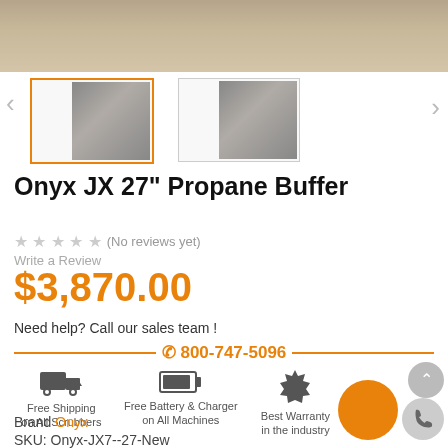[Figure (photo): Top portion of a product image showing a floor buffer/scrubber machine on a wooden pallet]
[Figure (photo): Two thumbnail images of the Onyx JX 27 Propane Buffer machine, first selected with orange border]
Onyx JX 27" Propane Buffer
★★★★★ (No reviews yet)
Write a Review
$3,870.00
Need help? Call our sales team !
☎ 800-747-5096
Free Shipping on All Scrubbers
Free Battery & Charger on All Machines
Best Warranty in the industry
Brand Onyx
SKU: Onyx-JX7--27-New